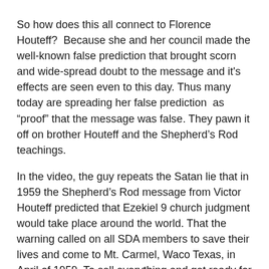So how does this all connect to Florence Houteff? Because she and her council made the well-known false prediction that brought scorn and wide-spread doubt to the message and it's effects are seen even to this day. Thus many today are spreading her false prediction as “proof” that the message was false. They pawn it off on brother Houteff and the Shepherd’s Rod teachings.
In the video, the guy repeats the Satan lie that in 1959 the Shepherd’s Rod message from Victor Houteff predicted that Ezekiel 9 church judgment would take place around the world. That the warning called on all SDA members to save their lives and come to Mt. Carmel, Waco Texas, in April of 1959. To sell everything and get ready for the trip to Israel for the setting up of the pre-millennial kingdom. Many did do this (some say over 1000).